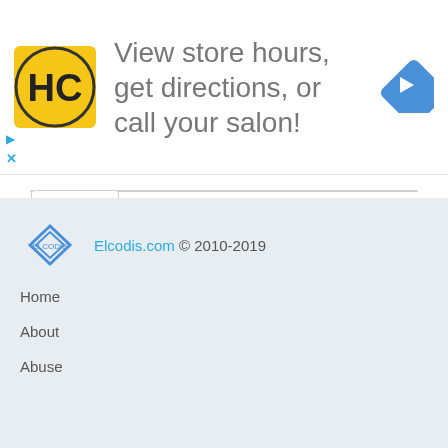[Figure (infographic): Advertisement banner: HC logo (yellow square with HC text), text 'View store hours, get directions, or call your salon!', and a blue diamond navigation arrow icon on the right. Small play and close controls on the left below the logo.]
[Figure (screenshot): Web UI card section with a collapse tab (caret up icon) and a green rounded 'Buy' button with a shopping cart icon.]
Elcodis.com © 2010-2019
Home
About
Abuse